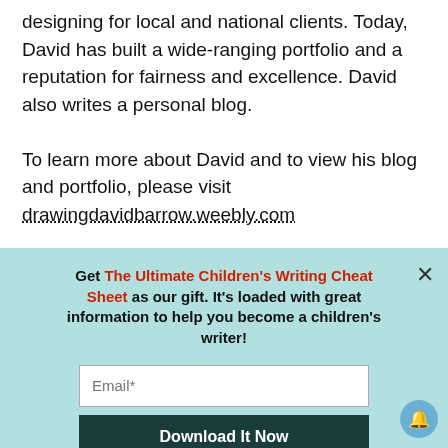designing for local and national clients. Today, David has built a wide-ranging portfolio and a reputation for fairness and excellence. David also writes a personal blog.
To learn more about David and to view his blog and portfolio, please visit drawingdavidbarrow.weebly.com
Get The Ultimate Children's Writing Cheat Sheet as our gift. It's loaded with great information to help you become a children's writer!
Email*
Download It Now